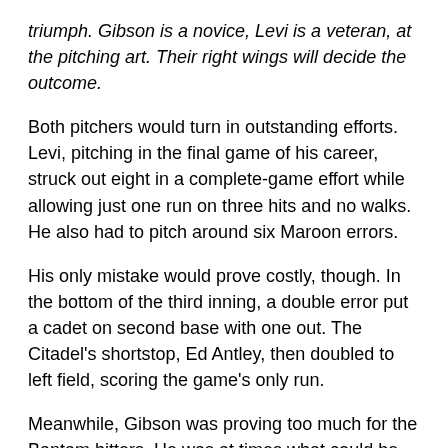triumph. Gibson is a novice, Levi is a veteran, at the pitching art. Their right wings will decide the outcome.
Both pitchers would turn in outstanding efforts. Levi, pitching in the final game of his career, struck out eight in a complete-game effort while allowing just one run on three hits and no walks. He also had to pitch around six Maroon errors.
His only mistake would prove costly, though. In the bottom of the third inning, a double error put a cadet on second base with one out. The Citadel's shortstop, Ed Antley, then doubled to left field, scoring the game's only run.
Meanwhile, Gibson was proving too much for the Bantam hitters. He was at times what could be termed “effectively wild”, as he hit two batters. In an amusing incident in the